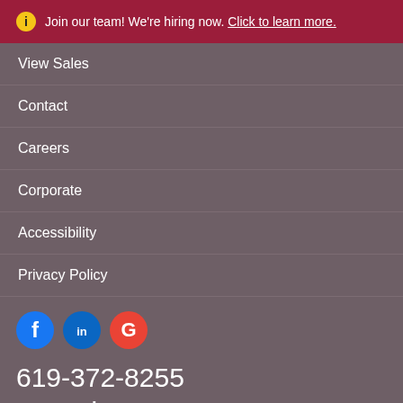ⓘ Join our team! We're hiring now. Click to learn more.
View Sales
Contact
Careers
Corporate
Accessibility
Privacy Policy
[Figure (other): Social media icons: Facebook (blue circle with f), LinkedIn (blue circle with in), Google (red circle with G)]
619-372-8255
San Diego, CA 92127
© 2022 C.T. Franchising Systems, Inc. All rights reserved. Each Office is Independently Owned and Operated.